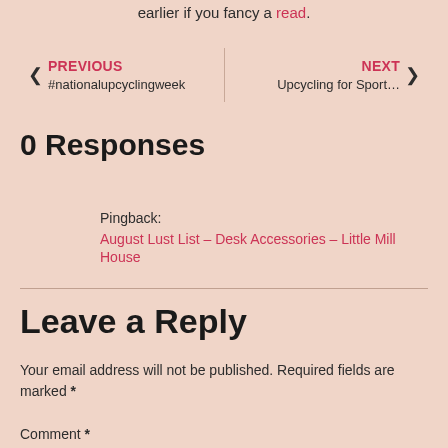earlier if you fancy a read.
PREVIOUS
#nationalupcyclingweek
NEXT
Upcycling for Sport…
0 Responses
Pingback:
August Lust List – Desk Accessories – Little Mill House
Leave a Reply
Your email address will not be published. Required fields are marked *
Comment *